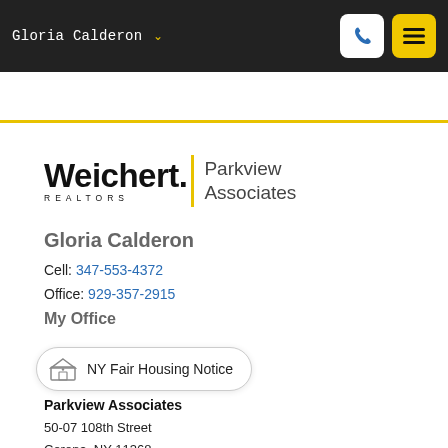Gloria Calderon
[Figure (logo): Weichert Realtors Parkview Associates logo with yellow vertical bar divider]
Gloria Calderon
Cell: 347-553-4372
Office: 929-357-2915
My Office
NY Fair Housing Notice
Parkview Associates
50-07 108th Street
Corona, NY 11368